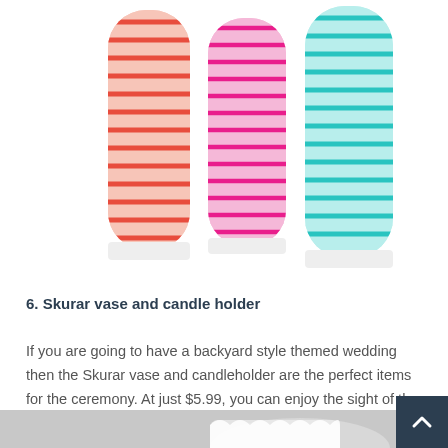[Figure (photo): Three striped cylindrical candles side by side — orange/red, pink, and teal — on white bases against a white background]
6. Skurar vase and candle holder
If you are going to have a backyard style themed wedding then the Skurar vase and candleholder are the perfect items for the ceremony. At just $5.99, you can enjoy the sight of the candle light shining through and lighting up your wedding.
[Figure (photo): White lace-patterned candle holder (Skurar vase) on a gray background]